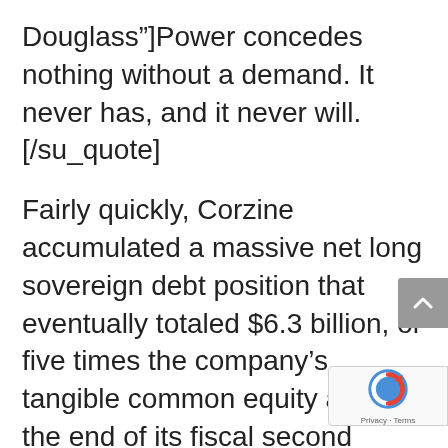Douglass"]Power concedes nothing without a demand. It never has, and it never will.[/su_quote]
Fairly quickly, Corzine accumulated a massive net long sovereign debt position that eventually totaled $6.3 billion, or five times the company’s tangible common equity as of the end of its fiscal second quarter. I’m told Corzine’s move was highly controversial within the firm. But no one overruled him, maybe because after all, he was Jon Corzine. In a mark of just how much Corzine mattered to the market, in ear August, MF Global filed a preliminary